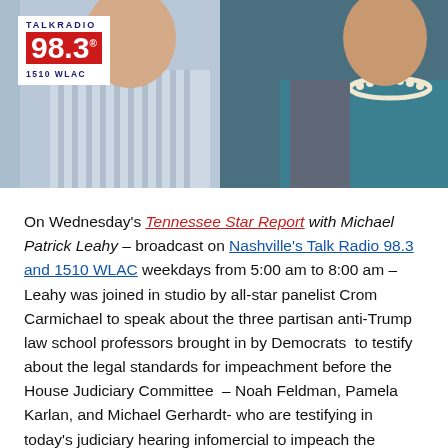[Figure (photo): Photo banner showing two people (a man in a striped shirt on the left and a woman in a teal top with pearl necklace on the right) with a TalkRadio 98.3 / 1510 WLAC logo overlay in the upper left corner.]
On Wednesday's Tennessee Star Report with Michael Patrick Leahy – broadcast on Nashville's Talk Radio 98.3 and 1510 WLAC weekdays from 5:00 am to 8:00 am – Leahy was joined in studio by all-star panelist Crom Carmichael to speak about the three partisan anti-Trump law school professors brought in by Democrats to testify about the legal standards for impeachment before the House Judiciary Committee – Noah Feldman, Pamela Karlan, and Michael Gerhardt- who are testifying in today's judiciary hearing infomercial to impeach the President of the United States.
During the show, Leahy went through each expert's political